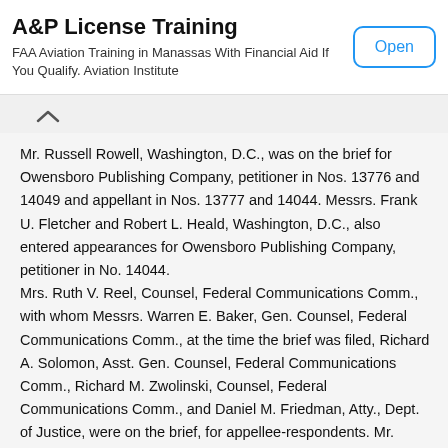[Figure (screenshot): Advertisement banner for A&P License Training. Title: 'A&P License Training'. Subtitle: 'FAA Aviation Training in Manassas With Financial Aid If You Qualify. Aviation Institute'. Open button on the right.]
Mr. Russell Rowell, Washington, D.C., was on the brief for Owensboro Publishing Company, petitioner in Nos. 13776 and 14049 and appellant in Nos. 13777 and 14044. Messrs. Frank U. Fletcher and Robert L. Heald, Washington, D.C., also entered appearances for Owensboro Publishing Company, petitioner in No. 14044.
Mrs. Ruth V. Reel, Counsel, Federal Communications Comm., with whom Messrs. Warren E. Baker, Gen. Counsel, Federal Communications Comm., at the time the brief was filed, Richard A. Solomon, Asst. Gen. Counsel, Federal Communications Comm., Richard M. Zwolinski, Counsel, Federal Communications Comm., and Daniel M. Friedman, Atty., Dept. of Justice, were on the brief, for appellee-respondents. Mr. Charles C. McCarter, Atty., Federal Communications Comm., also entered an appearance for appellee-respondent Federal Communications Comm. in Nos. 14046 and 14047.